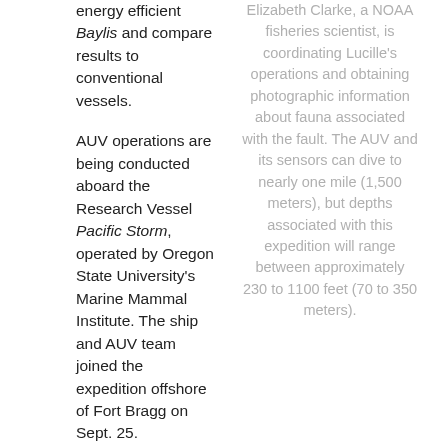energy efficient Baylis and compare results to conventional vessels.
Elizabeth Clarke, a NOAA fisheries scientist, is coordinating Lucille's operations and obtaining photographic information about fauna associated with the fault. The AUV and its sensors can dive to nearly one mile (1,500 meters), but depths associated with this expedition will range between approximately 230 to 1100 feet (70 to 350 meters).
AUV operations are being conducted aboard the Research Vessel Pacific Storm, operated by Oregon State University's Marine Mammal Institute. The ship and AUV team joined the expedition offshore of Fort Bragg on Sept. 25.
As the expedition progresses, NOAA's Ocean Explorer website features maps and images of the fault and associated